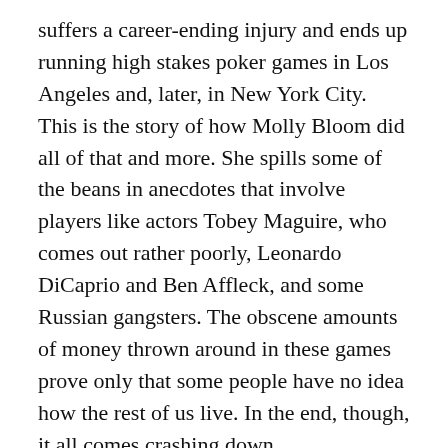suffers a career-ending injury and ends up running high stakes poker games in Los Angeles and, later, in New York City. This is the story of how Molly Bloom did all of that and more. She spills some of the beans in anecdotes that involve players like actors Tobey Maguire, who comes out rather poorly, Leonardo DiCaprio and Ben Affleck, and some Russian gangsters. The obscene amounts of money thrown around in these games prove only that some people have no idea how the rest of us live. In the end, though, it all comes crashing down. Unfortunately, the book ends before the end, which is the part where Bloom pleads guilty to federal charges. You'll have to turn to Google to find out what happened in court.